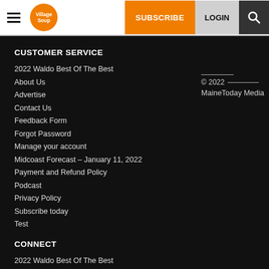Village Soup | SUBSCRIBE | LOGIN
CUSTOMER SERVICE
2022 Waldo Best Of The Best
About Us
Advertise
Contact Us
Feedback Form
Forgot Password
Manage your account
Midcoast Forecast – January 11, 2022
Payment and Refund Policy
Podcast
Privacy Policy
Subscribe today
Test
© 2022 MaineToday Media
CONNECT
2022 Waldo Best Of The Best
About Us
Advertise
Contact Us